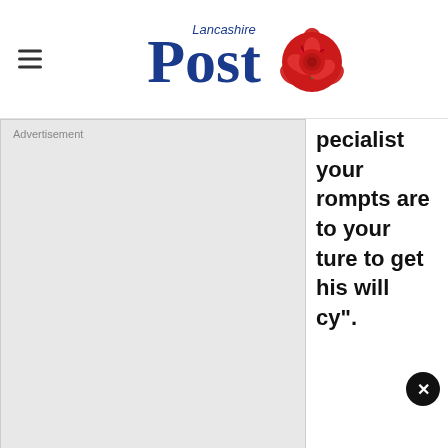Lancashire Post
[Figure (other): Advertisement placeholder box with label 'Advertisement']
pecialist your rompts are to your ture to get his will cy".
make
[Figure (other): WSJ (Wall Street Journal) app banner ad: 'Add WSJ to Your Reading List' with Open button]
50% off annual subscriptions
Subscribe today